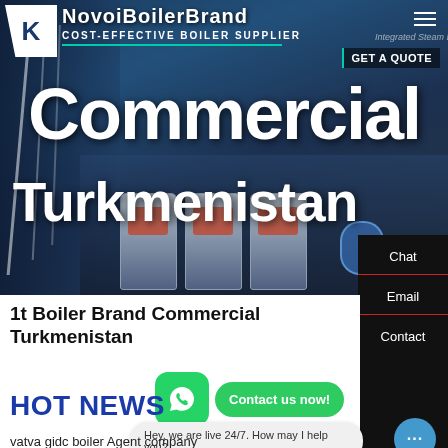[Figure (screenshot): Hero banner showing industrial boilers with dark overlay. Website header for a boiler supplier company.]
Commercial
Turkmenistan
COST-EFFECTIVE BOILER SUPPLIER
GET A QUOTE
Chat
Email
Contact
1t Boiler Brand Commercial Turkmenistan
Contact us now!
HOT NEWS
Hey, we are live 24/7. How may I help you?
vatva gidc boiler Agent company